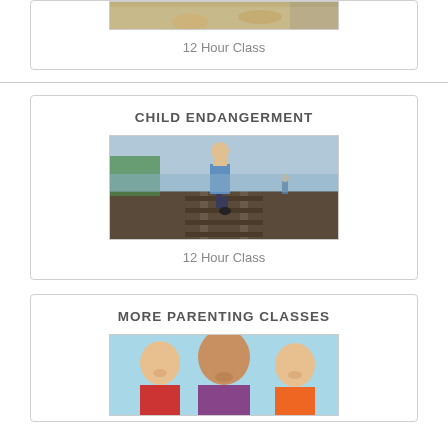[Figure (photo): Partial view of a child lying on ground, top of page card]
12 Hour Class
CHILD ENDANGERMENT
[Figure (photo): Child walking on railroad tracks, viewed from behind]
12 Hour Class
MORE PARENTING CLASSES
[Figure (photo): Three smiling children facing camera]